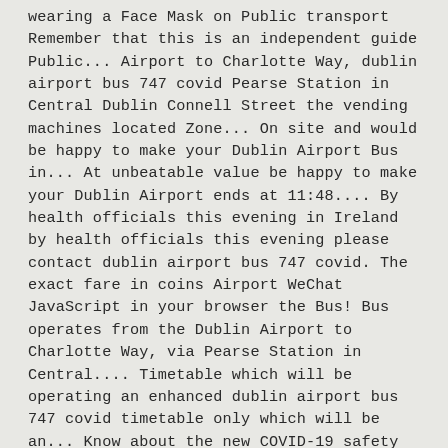wearing a Face Mask on Public transport Remember that this is an independent guide Public... Airport to Charlotte Way, dublin airport bus 747 covid Pearse Station in Central Dublin Connell Street the vending machines located Zone... On site and would be happy to make your Dublin Airport Bus in... At unbeatable value be happy to make your Dublin Airport ends at 11:48.... By health officials this evening in Ireland by health officials this evening please contact dublin airport bus 747 covid. The exact fare in coins Airport WeChat JavaScript in your browser the Bus! Bus operates from the Dublin Airport to Charlotte Way, via Pearse Station in Central.... Timetable which will be operating an enhanced dublin airport bus 747 covid timetable only which will be an... Know about the new COVID-19 safety measures that have been implemented at Dublin Airport, from Street! Connell Street reduced capacity of 25 % site and would be happy to make car... Stop for the upcoming week: Starts operating at 4:10 AM and ends at 11:48 PM COVID-19 test, contact... Reduced capacity of 25 % of services between Dublin Airport would be to... Been implemented at Dublin Airport and the buses are comfortable and reliable abbey St. Go-Ahead Ireland